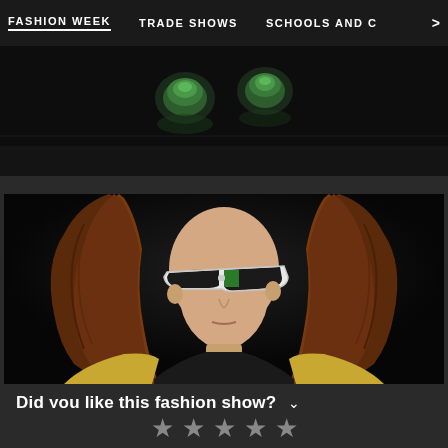FASHION WEEK   TRADE SHOWS   SCHOOLS AND C  >
[Figure (photo): Fashion show runway image showing two green metallic helmet-like objects on a dark runway floor, viewed from above/behind]
[Figure (photo): Fashion model with long curly auburn hair wearing angular futuristic white and green sunglasses, black top and gold jacket, against dark background]
Did you like this fashion show?
★ ★ ★ ★ ★